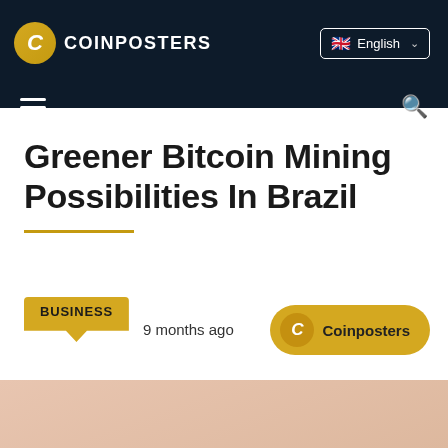COINPOSTERS
Greener Bitcoin Mining Possibilities In Brazil
BUSINESS   9 months ago
Coinposters
[Figure (photo): Thumbnail image with light peach/beige tone at bottom of page]